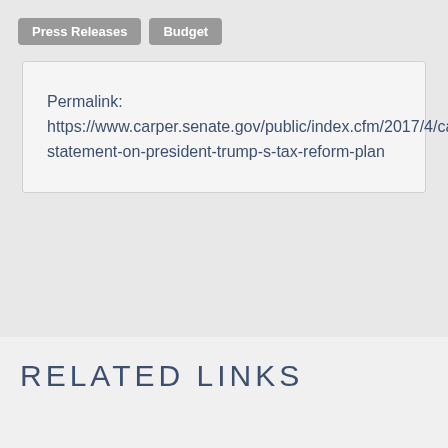Press Releases
Budget
Permalink: https://www.carper.senate.gov/public/index.cfm/2017/4/carper-statement-on-president-trump-s-tax-reform-plan
RELATED LINKS